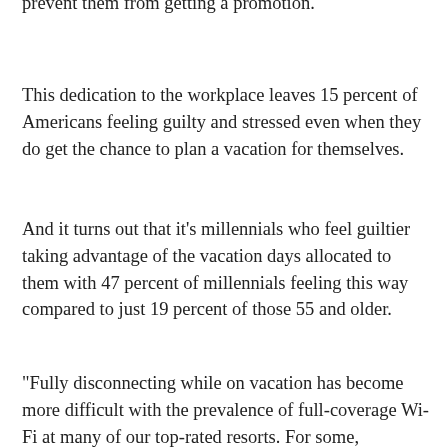prevent them from getting a promotion.
This dedication to the workplace leaves 15 percent of Americans feeling guilty and stressed even when they do get the chance to plan a vacation for themselves.
And it turns out that it's millennials who feel guiltier taking advantage of the vacation days allocated to them with 47 percent of millennials feeling this way compared to just 19 percent of those 55 and older.
“Fully disconnecting while on vacation has become more difficult with the prevalence of full-coverage Wi-Fi at many of our top-rated resorts. For some, checking in periodically to ensure things are running smoothly in their absence may actually aid in relaxation.
“However, there’s a fine line between staying connected and